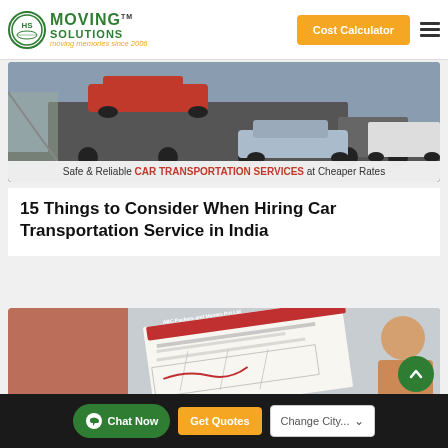Moving Solutions - moving memories since 2006 | Cost Calculator
[Figure (photo): Car transportation service image showing cars on a transport truck, with banner text: Safe & Reliable CAR TRANSPORTATION SERVICES at Cheaper Rates]
15 Things to Consider When Hiring Car Transportation Service in India
[Figure (photo): Image showing a movers and packers document/invoice with a person in the background]
Chat Now | Get Quotes | Change City...